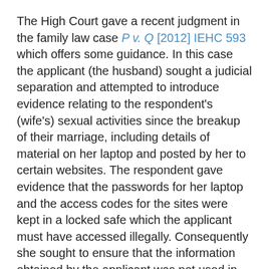The High Court gave a recent judgment in the family law case P v. Q [2012] IEHC 593 which offers some guidance. In this case the applicant (the husband) sought a judicial separation and attempted to introduce evidence relating to the respondent's (wife's) sexual activities since the breakup of their marriage, including details of material on her laptop and posted by her to certain websites. The respondent gave evidence that the passwords for her laptop and the access codes for the sites were kept in a locked safe which the applicant must have accessed illegally. Consequently she sought to ensure that the information obtained by the applicant was not used in the proceedings and in particular was not used as the basis to obtain an order for discovery against her.
On appeal from the Circuit Court, the High Court held that in the ordinary course of events this information would be inadmissible on the basis that it was obtained illegally and in breach of the constitutional right to privacy of the respondent. In this case, however, given that child welfare issues also arose the court took the view that the constitutional rights of the child took precedence over the